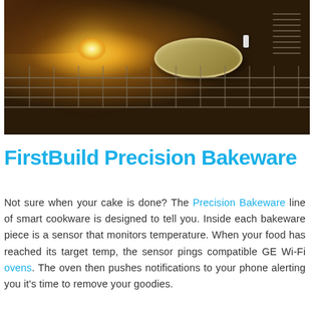[Figure (photo): Interior of an oven with bakeware/springform pan on the rack, warm oven light glowing on the left, dark metallic interior.]
FirstBuild Precision Bakeware
Not sure when your cake is done? The Precision Bakeware line of smart cookware is designed to tell you. Inside each bakeware piece is a sensor that monitors temperature. When your food has reached its target temp, the sensor pings compatible GE Wi-Fi ovens. The oven then pushes notifications to your phone alerting you it's time to remove your goodies.